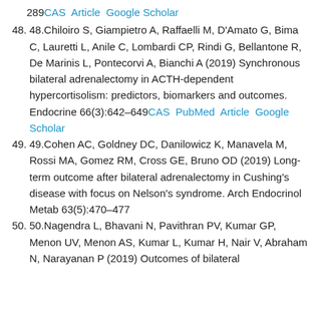289 CAS Article Google Scholar
48. 48.Chiloiro S, Giampietro A, Raffaelli M, D'Amato G, Bima C, Lauretti L, Anile C, Lombardi CP, Rindi G, Bellantone R, De Marinis L, Pontecorvi A, Bianchi A (2019) Synchronous bilateral adrenalectomy in ACTH-dependent hypercortisolism: predictors, biomarkers and outcomes. Endocrine 66(3):642–649 CAS PubMed Article Google Scholar
49. 49.Cohen AC, Goldney DC, Danilowicz K, Manavela M, Rossi MA, Gomez RM, Cross GE, Bruno OD (2019) Long-term outcome after bilateral adrenalectomy in Cushing's disease with focus on Nelson's syndrome. Arch Endocrinol Metab 63(5):470–477
50. 50.Nagendra L, Bhavani N, Pavithran PV, Kumar GP, Menon UV, Menon AS, Kumar L, Kumar H, Nair V, Abraham N, Narayanan P (2019) Outcomes of bilateral